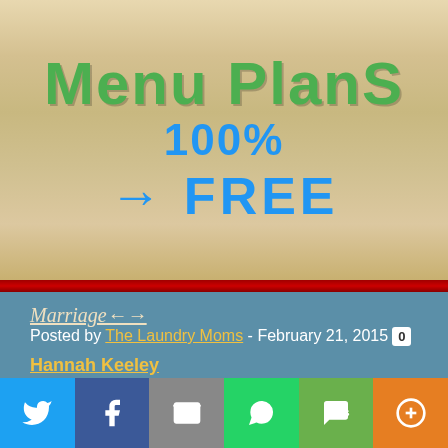[Figure (illustration): Banner image with wood-grain background showing 'Menu PlanS' in green text, '100%' in blue, and '→ FREE' in blue with arrow, on a light wooden plank texture background]
Marriage←→↑
Posted by The Laundry Moms - February 21, 2015 [0 comments]
Hannah Keeley
Divorce, Hannah Keeley, love, Marriage Help, Marriage Issues, Marriage Problems, Valentines
[Figure (infographic): Social sharing bar with Twitter, Facebook, Email, WhatsApp, SMS, and More buttons]